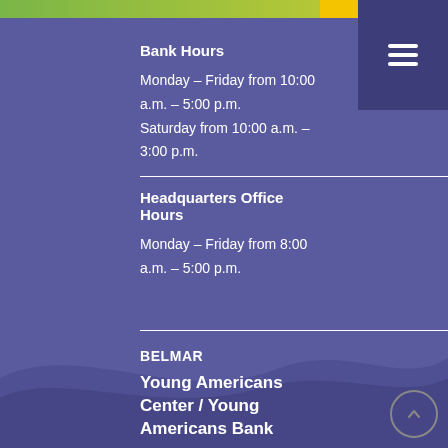Bank Hours
Monday – Friday from 10:00 a.m. – 5:00 p.m.
Saturday from 10:00 a.m. – 3:00 p.m.
Headquarters Office Hours
Monday – Friday from 8:00 a.m. – 5:00 p.m.
BELMAR
Young Americans Center / Young Americans Bank